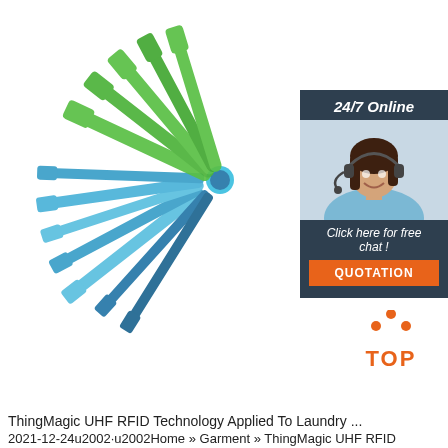[Figure (photo): Blue and green plastic RFID laundry tags bundled together on a white background, with a customer service chat widget overlay in the top right showing a woman with a headset, '24/7 Online' text, 'Click here for free chat!' text, and an orange QUOTATION button]
[Figure (logo): Orange and red 'TOP' logo with triangle dots on top right area, indicating a 'back to top' button]
ThingMagic UHF RFID Technology Applied To Laundry ...
2021-12-24u2002·u2002Home » Garment » ThingMagic UHF RFID